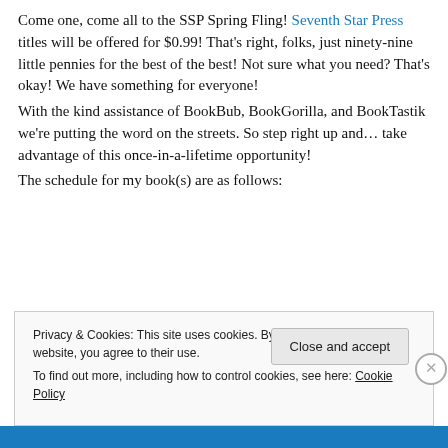Come one, come all to the SSP Spring Fling! Seventh Star Press titles will be offered for $0.99! That's right, folks, just ninety-nine little pennies for the best of the best! Not sure what you need? That's okay! We have something for everyone!
With the kind assistance of BookBub, BookGorilla, and BookTastik we're putting the word on the streets. So step right up and… take advantage of this once-in-a-lifetime opportunity!
The schedule for my book(s) are as follows:
Privacy & Cookies: This site uses cookies. By continuing to use this website, you agree to their use.
To find out more, including how to control cookies, see here: Cookie Policy